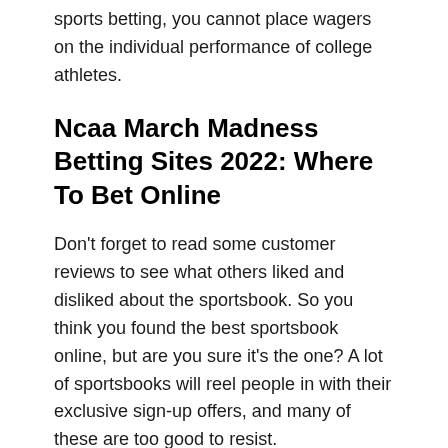sports betting, you cannot place wagers on the individual performance of college athletes.
Ncaa March Madness Betting Sites 2022: Where To Bet Online
Don't forget to read some customer reviews to see what others liked and disliked about the sportsbook. So you think you found the best sportsbook online, but are you sure it's the one? A lot of sportsbooks will reel people in with their exclusive sign-up offers, and many of these are too good to resist.
Other Sportsbook Apps Coming To Arizona In 2021
Within their front page, you have popular, live bets and odds boosts that make it easy to check in on some of the more intriguing bets before diving into sports for later on. The sports